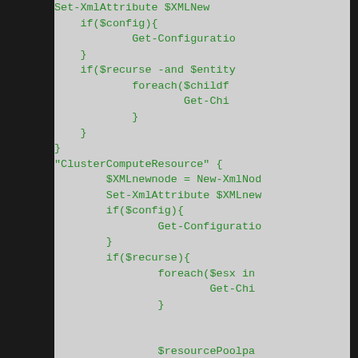[Figure (screenshot): Code editor screenshot showing PowerShell/scripting code with green text on light gray background. The code shows XML attribute setting, configuration retrieval, recursion logic for ClusterComputeResource including XMLnewnode creation, Set-XmlAttribute calls, Get-Configuration, foreach loops over child items and ESX hosts, and resource pool parameter handling.]